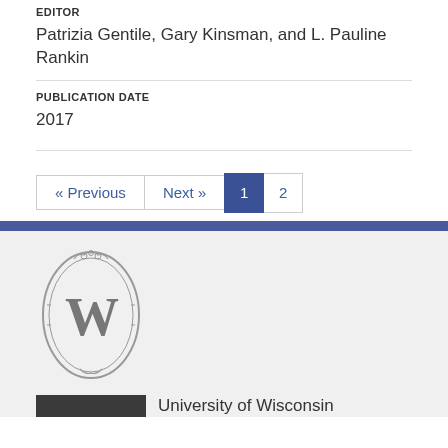EDITOR
Patrizia Gentile, Gary Kinsman, and L. Pauline Rankin
PUBLICATION DATE
2017
« Previous  Next »  1  2
[Figure (logo): University of Wisconsin crest/shield logo with stylized W in center, oval shape with decorative border]
University of Wisconsin